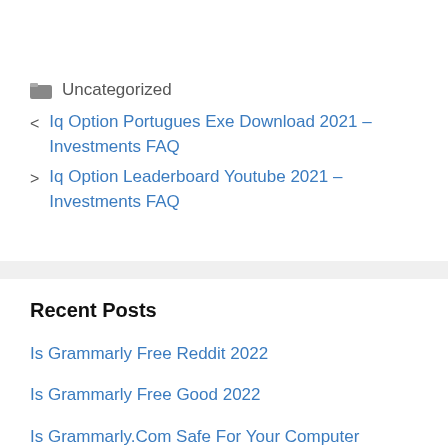Uncategorized
< Iq Option Portugues Exe Download 2021 – Investments FAQ
> Iq Option Leaderboard Youtube 2021 – Investments FAQ
Recent Posts
Is Grammarly Free Reddit 2022
Is Grammarly Free Good 2022
Is Grammarly.Com Safe For Your Computer